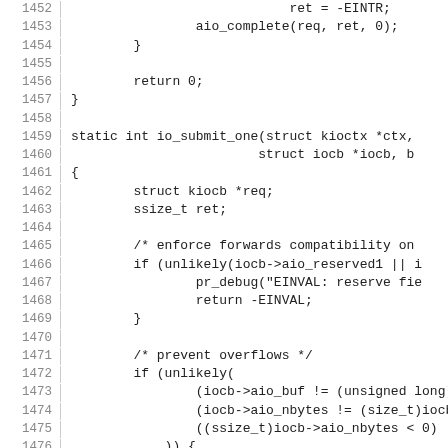Source code listing lines 1452–1481, C kernel AIO code
1452:                         ret = -EINTR;
1453:             aio_complete(req, ret, 0);
1454:         }
1455:
1456:         return 0;
1457: }
1458:
1459: static int io_submit_one(struct kioctx *ctx,
1460:                         struct iocb *iocb, b
1461: {
1462:         struct kiocb *req;
1463:         ssize_t ret;
1464:
1465:         /* enforce forwards compatibility on
1466:         if (unlikely(iocb->aio_reserved1 || i
1467:                 pr_debug("EINVAL: reserve fie
1468:                 return -EINVAL;
1469:         }
1470:
1471:         /* prevent overflows */
1472:         if (unlikely(
1473:                 (iocb->aio_buf != (unsigned long)
1474:                 (iocb->aio_nbytes != (size_t)iocb
1475:                 ((ssize_t)iocb->aio_nbytes < 0)
1476:             )) {
1477:                 pr_debug("EINVAL: io_submit:
1478:                 return -EINVAL;
1479:         }
1480:
1481:         req = aio_get_req(ctx);